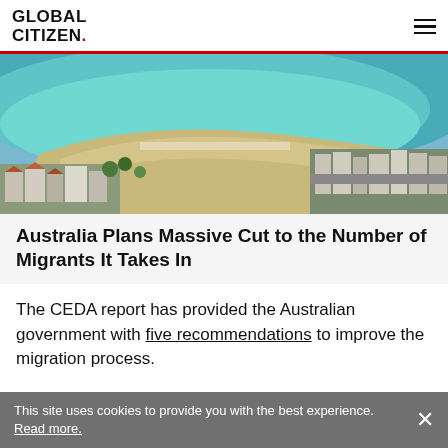GLOBAL CITIZEN.
[Figure (photo): Aerial view of a curved beach (likely Bondi Beach, Sydney, Australia) with turquoise water, sandy shore, and residential buildings in the foreground.]
Australia Plans Massive Cut to the Number of Migrants It Takes In
The CEDA report has provided the Australian government with five recommendations to improve the migration process.
This site uses cookies to provide you with the best experience. Read more.